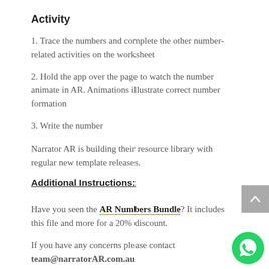Activity
1. Trace the numbers and complete the other number-related activities on the worksheet
2. Hold the app over the page to watch the number animate in AR. Animations illustrate correct number formation
3. Write the number
Narrator AR is building their resource library with regular new template releases.
Additional Instructions:
Have you seen the AR Numbers Bundle? It includes this file and more for a 20% discount.
If you have any concerns please contact team@narratorAR.com.au